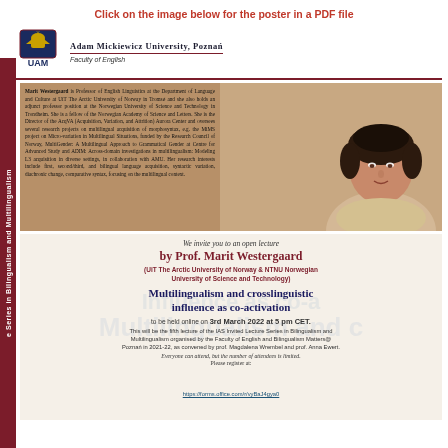Click on the image below for the poster in a PDF file
[Figure (logo): UAM (Adam Mickiewicz University) crest logo with eagle and crown]
Adam Mickiewicz University, Poznań – Faculty of English
Marit Westergaard is Professor of English Linguistics at the Department of Language and Culture at UiT The Arctic University of Norway in Tromsø and she also holds an adjunct professor position at the Norwegian University of Science and Technology in Trondheim. She is a fellow of the Norwegian Academy of Science and Letters. She is the Director of the AcqVA (Acquisition, Variation, and Attrition) Aurora Center and oversees several research projects on multilingual acquisition of morphosyntax, e.g. the MiMS project on Micro-variation in Multilingual Situations, funded by the Research Council of Norway, MultiGender: A Multilingual Approach to Grammatical Gender at Centre for Advanced Study and ADIM: Across-domain investigations in multilingualism: Modeling L3 acquisition in diverse settings, in collaboration with AMU. Her research interests include first, second/third, and bilingual language acquisition, syntactic variation, diachronic change, comparative syntax, focusing on the multilingual context.
[Figure (photo): Portrait photo of Prof. Marit Westergaard, a woman with short dark hair]
We invite you to an open lecture
by Prof. Marit Westergaard
(UiT The Arctic University of Norway & NTNU Norwegian University of Science and Technology)
Multilingualism and crosslinguistic influence as co-activation
to be held online on 3rd March 2022 at 5 pm CET.
This will be the fifth lecture of the IAS Invited Lecture Series in Bilingualism and Multilingualism organised by the Faculty of English and Bilingualism Matters@ Poznań in 2021-22, as convened by prof. Magdalena Wrembel and prof. Anna Ewert.
Everyone can attend, but the number of attendees is limited.
Please register at:
https://forms.office.com/r/vyBaJ4gya0